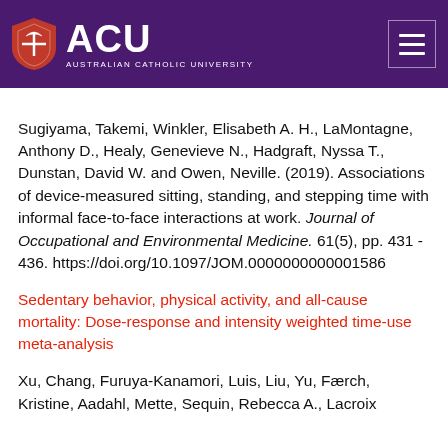ACU — Australian Catholic University
Sugiyama, Takemi, Winkler, Elisabeth A. H., LaMontagne, Anthony D., Healy, Genevieve N., Hadgraft, Nyssa T., Dunstan, David W. and Owen, Neville. (2019). Associations of device-measured sitting, standing, and stepping time with informal face-to-face interactions at work. Journal of Occupational and Environmental Medicine. 61(5), pp. 431 - 436. https://doi.org/10.1097/JOM.0000000000001586
Sedentary behavior, physical activity, and all-cause mortality: Dose-response and intensity weighted time-use meta-analysis
Xu, Chang, Furuya-Kanamori, Luis, Liu, Yu, Færch, Kristine, Aadahl, Mette, Sequin, Rebecca A., Lacroix